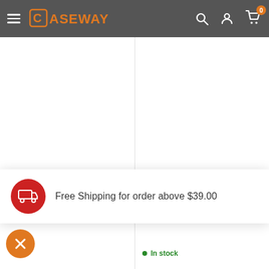CASEWAY navigation header with hamburger menu, logo, search, account, and cart icons
OTTERBOX
Otterbox Defender XT Magsafe
$119.95
In stock
OTTERBOX
Otterbox Defender
In stock
Free Shipping for order above $39.00